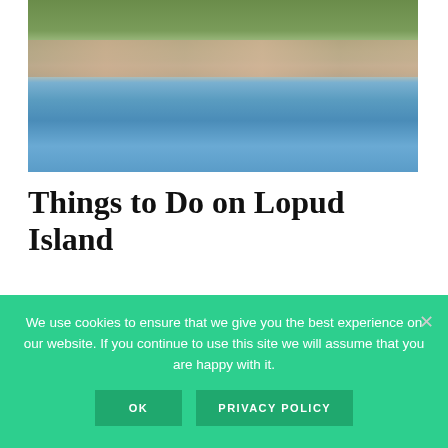[Figure (photo): Coastal town view of Lopud Island from the water, showing buildings with orange/red roofs set against a green hillside, with blue-green sea water in the foreground]
Things to Do on Lopud Island
We use cookies to ensure that we give you the best experience on our website. If you continue to use this site we will assume that you are happy with it.
OK  PRIVACY POLICY